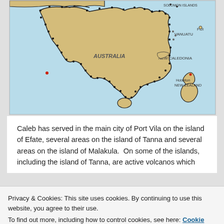[Figure (map): Map of Oceania/Pacific region showing Australia, New Zealand, Solomon Islands, Vanuatu, Fiji, New Caledonia and surrounding ocean. Australia and New Zealand shown in tan/gold color with black dot borders. Blue ocean background.]
Caleb has served in the main city of Port Vila on the island of Efate, several areas on the island of Tanna and several areas on the island of Malakula.  On some of the islands, including the island of Tanna, are active volcanos which
Privacy & Cookies: This site uses cookies. By continuing to use this website, you agree to their use.
To find out more, including how to control cookies, see here: Cookie Policy
[Figure (map): Partial bottom map strip showing Espiritu Santo, Lamap, and other Vanuatu islands.]